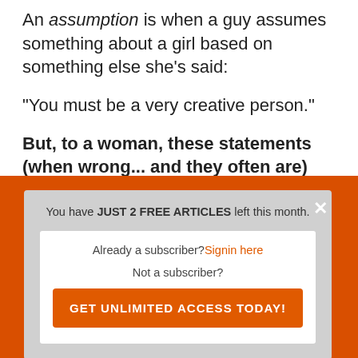An assumption is when a guy assumes something about a girl based on something else she's said:
"You must be a very creative person."
But, to a woman, these statements (when wrong... and they often are) sound to her like
[Figure (screenshot): Modal popup overlay with orange border on a webpage. Contains message: 'You have JUST 2 FREE ARTICLES left this month.' with options to sign in or get unlimited access. White inner box with 'Already a subscriber? Signin here', 'Not a subscriber?', and an orange 'GET UNLIMITED ACCESS TODAY!' button.]